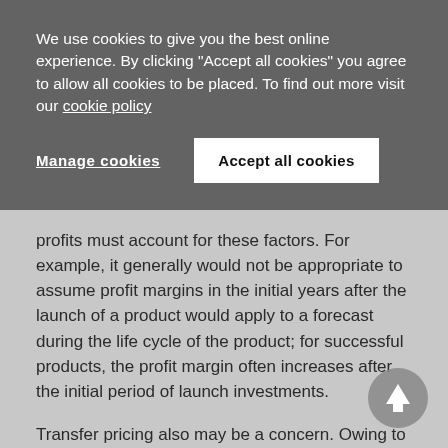We use cookies to give you the best online experience. By clicking "Accept all cookies" you agree to allow all cookies to be placed. To find out more visit our cookie policy
Manage cookies
Accept all cookies
profits must account for these factors. For example, it generally would not be appropriate to assume profit margins in the initial years after the launch of a product would apply to a forecast during the life cycle of the product; for successful products, the profit margin often increases after the initial period of launch investments.
Transfer pricing also may be a concern. Owing to the global nature of the industry and the